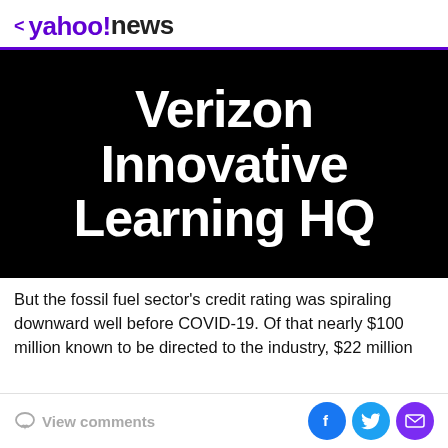< yahoo!news
[Figure (illustration): Black background hero image with large white bold text reading 'Verizon Innovative Learning HQ']
Verizon Innovative Learning HQ
But the fossil fuel sector's credit rating was spiraling downward well before COVID-19. Of that nearly $100 million known to be directed to the industry, $22 million
View comments